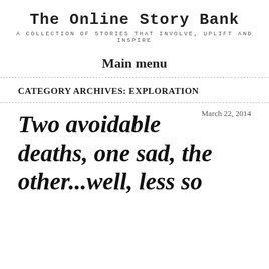The Online Story Bank
A COLLECTION OF STORIES THAT INVOLVE, UPLIFT AND INSPIRE
Main menu
CATEGORY ARCHIVES: EXPLORATION
March 22, 2014
Two avoidable deaths, one sad, the other...well, less so